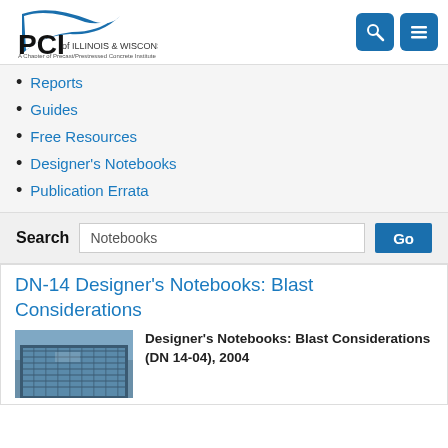[Figure (logo): PCI of Illinois & Wisconsin logo - A Chapter of Precast/Prestressed Concrete Institute]
Reports
Guides
Free Resources
Designer's Notebooks
Publication Errata
Search  Notebooks  Go
DN-14 Designer's Notebooks: Blast Considerations
[Figure (photo): Exterior photo of a building with glass facade]
Designer's Notebooks: Blast Considerations (DN 14-04), 2004